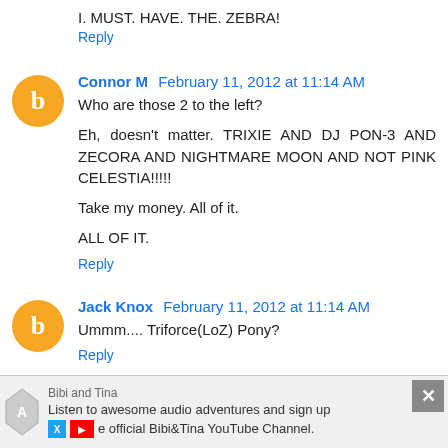I. MUST. HAVE. THE. ZEBRA!
Reply
Connor M  February 11, 2012 at 11:14 AM
Who are those 2 to the left?

Eh, doesn't matter. TRIXIE AND DJ PON-3 AND ZECORA AND NIGHTMARE MOON AND NOT PINK CELESTIA!!!!!

Take my money. All of it.

ALL OF IT.
Reply
Jack Knox  February 11, 2012 at 11:14 AM
Ummm.... Triforce(LoZ) Pony?
Reply
Bibi and Tina
Listen to awesome audio adventures and sign up
e official Bibi&Tina YouTube Channel.